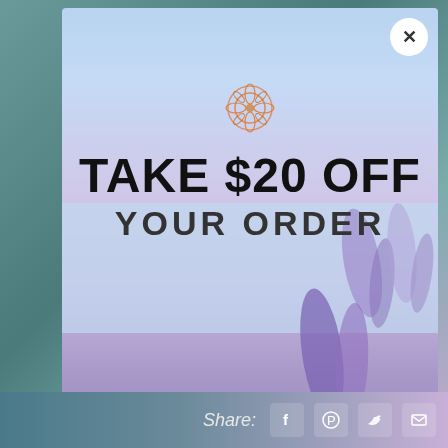[Figure (screenshot): Modal popup over lavender field background with teal/purple gradient page background]
TAKE $20 OFF YOUR ORDER
*I agree to receive recurring automated marketing text messages (e.g. cart reminders) at the phone number provided. Consent is not a condition to purchase. Msg & data rates may apply. Msg frequency varies. Reply HELP for help and STOP to cancel. View our Terms of Service and Privacy Policy.
TAKE $20 OFF
Share: